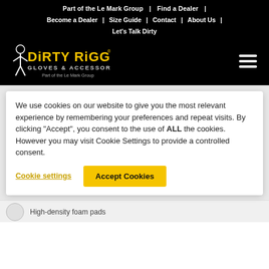Part of the Le Mark Group | Find a Dealer | Become a Dealer | Size Guide | Contact | About Us | Let's Talk Dirty
[Figure (logo): Dirty Rigger Gloves & Accessories logo in yellow on black background, with 'Part of the Le Mark Group' tagline]
We use cookies on our website to give you the most relevant experience by remembering your preferences and repeat visits. By clicking “Accept”, you consent to the use of ALL the cookies. However you may visit Cookie Settings to provide a controlled consent.
Cookie settings    Accept Cookies
High-density foam pads